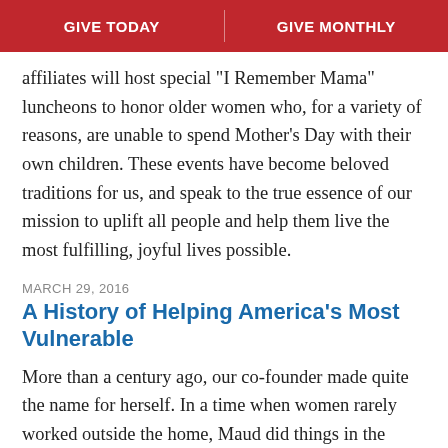GIVE TODAY | GIVE MONTHLY
affiliates will host special "I Remember Mama" luncheons to honor older women who, for a variety of reasons, are unable to spend Mother's Day with their own children. These events have become beloved traditions for us, and speak to the true essence of our mission to uplift all people and help them live the most fulfilling, joyful lives possible.
MARCH 29, 2016
A History of Helping America's Most Vulnerable
More than a century ago, our co-founder made quite the name for herself. In a time when women rarely worked outside the home, Maud did things in the name of charity that most proper Victorian ladies would never dream to consider. She became known as the "little